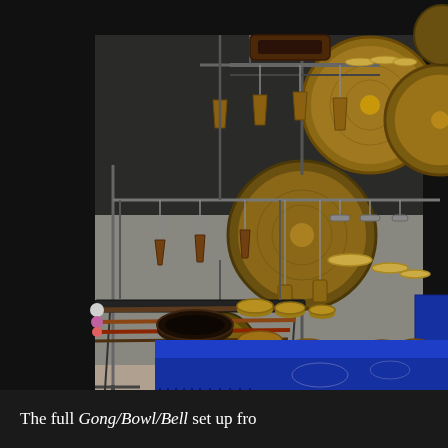[Figure (photo): A photograph of a full Gong/Bowl/Bell musical instrument setup on a stage. The scene shows multiple large gongs hanging on metal stands in the background, several Tibetan singing bowls and smaller bells arranged on a table covered with a blue decorative cloth with fringe, mallets laid on a stand, small hanging bells and chimes on bars, and various percussion instruments arranged for performance.]
The full Gong/Bowl/Bell set up fro